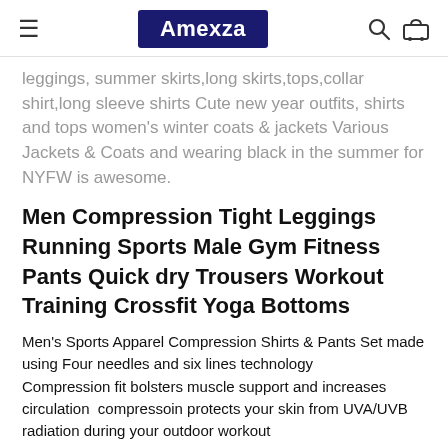Amexza
leggings, summer skirts,long skirts,tops,collar shirt,long sleeve shirts Cute new year outfits, shirts and tops women's winter coats & jackets Various Jackets & Coats and wearing black in the summer for NYFW is awesome.
Men Compression Tight Leggings Running Sports Male Gym Fitness Pants Quick dry Trousers Workout Training Crossfit Yoga Bottoms
Men's Sports Apparel Compression Shirts & Pants Set made using Four needles and six lines technology
Compression fit bolsters muscle support and increases circulation  compressoin protects your skin from UVA/UVB radiation during your outdoor workout
Great for skiing, snowboarding, training, competing, and all weather sports and activities
Machine washable